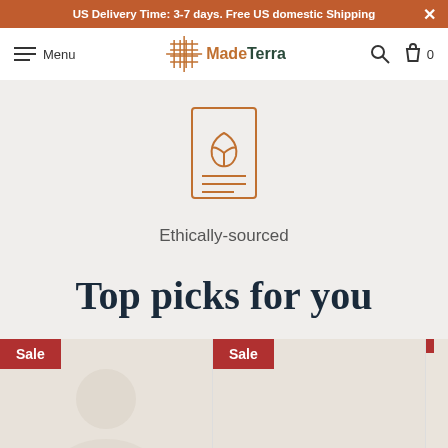US Delivery Time: 3-7 days. Free US domestic Shipping
[Figure (logo): MadeTerra logo with grid/cross pattern icon and brand name]
[Figure (illustration): Ethically-sourced icon: a seed packet with leaf graphic and lines]
Ethically-sourced
Top picks for you
[Figure (photo): Product card 1 with Sale badge - product image placeholder]
[Figure (photo): Product card 2 with Sale badge - product image placeholder]
[Figure (photo): Product card 3 (partially visible) with Sale badge and teal wishlist heart button]